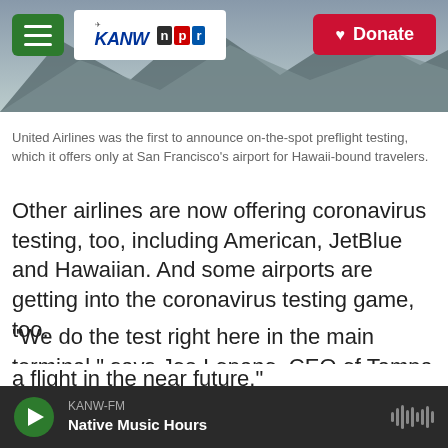[Figure (screenshot): KANW NPR radio station website header with hamburger menu, KANW NPR logo, and red Donate button over a mountain landscape background image.]
United Airlines was the first to announce on-the-spot preflight testing, which it offers only at San Francisco's airport for Hawaii-bound travelers.
Other airlines are now offering coronavirus testing, too, including American, JetBlue and Hawaiian. And some airports are getting into the coronavirus testing game, too.
"We do the test right here in the main terminal," says Joe Lopano, CEO of Tampa International Airport. "We only test travelers, so you have to have either a boarding pass or proof of a reservation for a flight in the near future."
KANW-FM  Native Music Hours